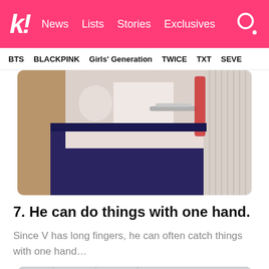k! News Lists Stories Exclusives
BTS BLACKPINK Girls' Generation TWICE TXT SEVE
[Figure (photo): Close-up photo of a person's midsection wearing a white jacket and dark navy skirt, with another person's arm visible on the left and a ribbed knit fabric on the right.]
7. He can do things with one hand.
Since V has long fingers, he can often catch things with one hand…
[Figure (photo): Photo of a person with dark hair raising their arm up, shot from below against a light gray wall background.]